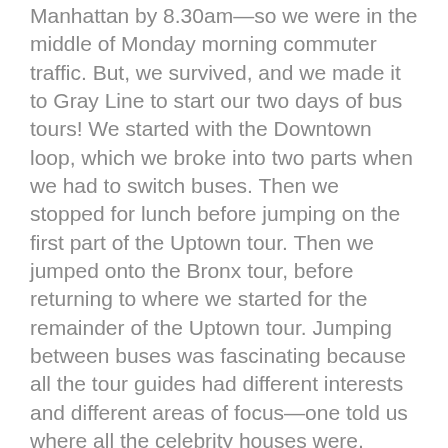Manhattan by 8.30am—so we were in the middle of Monday morning commuter traffic. But, we survived, and we made it to Gray Line to start our two days of bus tours! We started with the Downtown loop, which we broke into two parts when we had to switch buses. Then we stopped for lunch before jumping on the first part of the Uptown tour. Then we jumped onto the Bronx tour, before returning to where we started for the remainder of the Uptown tour. Jumping between buses was fascinating because all the tour guides had different interests and different areas of focus—one told us where all the celebrity houses were, another told us where to get local/non-tourist-trap food, another talked a lot about history.
By this time it was about 4:30pm and we didn't want to do the night tour until it was close to dark. So we stopped off in Starbucks for a while for coffee, non-coffee for me (who is allergic to coffee), as well as a NYC Starbucks mug (which I collect in every city). We nursed these for a while until it was a reasonable time for dinner, when we decided to try that